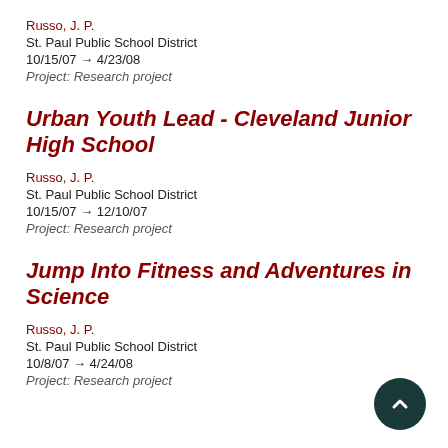Russo, J. P.
St. Paul Public School District
10/15/07 → 4/23/08
Project: Research project
Urban Youth Lead - Cleveland Junior High School
Russo, J. P.
St. Paul Public School District
10/15/07 → 12/10/07
Project: Research project
Jump Into Fitness and Adventures in Science
Russo, J. P.
St. Paul Public School District
10/8/07 → 4/24/08
Project: Research project